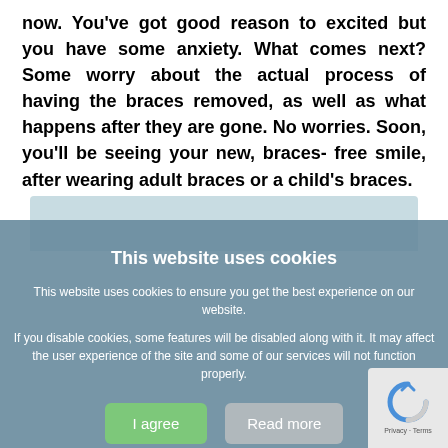now. You've got good reason to excited but you have some anxiety. What comes next? Some worry about the actual process of having the braces removed, as well as what happens after they are gone. No worries. Soon, you'll be seeing your new, braces- free smile, after wearing adult braces or a child's braces.
[Figure (photo): Partial view of a light blue/teal colored image strip at the top of the cookie consent overlay area]
This website uses cookies
This website uses cookies to ensure you get the best experience on our website.
If you disable cookies, some features will be disabled along with it. It may affect the user experience of the site and some of our services will not function properly.
I agree | Read more
I disagree